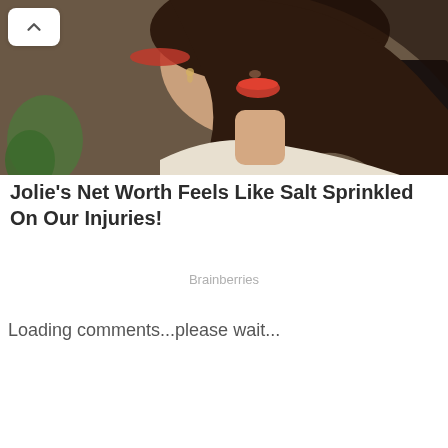[Figure (photo): Portrait photo of a woman with dark brown hair, red lips, and light skin, wearing a white top, viewed from a side-front angle. A green plant is visible in the background.]
Jolie's Net Worth Feels Like Salt Sprinkled On Our Injuries!
Brainberries
Loading comments...please wait...